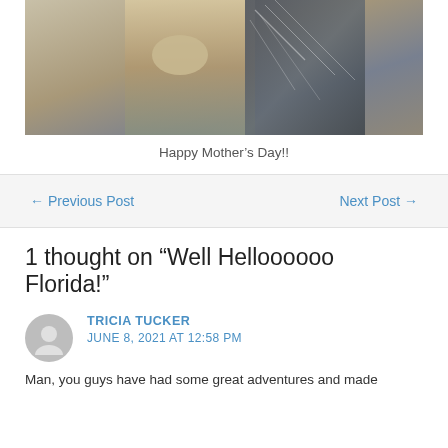[Figure (photo): Two people standing together, one holding a small dog, photographed outdoors near a light-colored wall]
Happy Mother's Day!!
← Previous Post
Next Post →
1 thought on “Well Helloooooo Florida!”
TRICIA TUCKER
JUNE 8, 2021 AT 12:58 PM
Man, you guys have had some great adventures and made